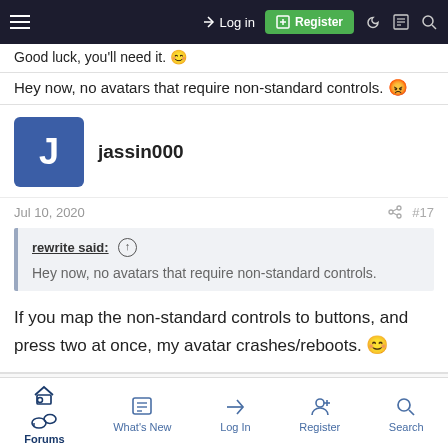Good luck, you'll need it. [emoji] | Log in | Register
Hey now, no avatars that require non-standard controls. [emoji]
jassin000
Jul 10, 2020   #17
rewrite said: ↑
Hey now, no avatars that require non-standard controls.
If you map the non-standard controls to buttons, and press two at once, my avatar crashes/reboots. 😊
Forums | What's New | Log In | Register | Search